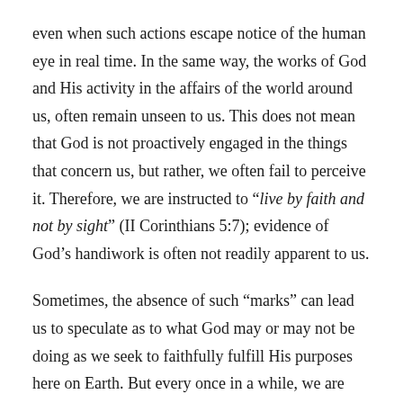even when such actions escape notice of the human eye in real time. In the same way, the works of God and His activity in the affairs of the world around us, often remain unseen to us. This does not mean that God is not proactively engaged in the things that concern us, but rather, we often fail to perceive it. Therefore, we are instructed to “live by faith and not by sight” (II Corinthians 5:7); evidence of God’s handiwork is often not readily apparent to us.
Sometimes, the absence of such “marks” can lead us to speculate as to what God may or may not be doing as we seek to faithfully fulfill His purposes here on Earth. But every once in a while, we are provided glimpses of God’s power and grace in our lives like a mark left in the...